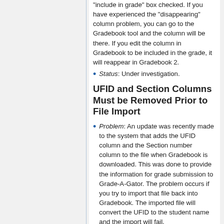"include in grade" box checked. If you have experienced the "disappearing" column problem, you can go to the Gradebook tool and the column will be there. If you edit the column in Gradebook to be included in the grade, it will reappear in Gradebook 2.
Status: Under investigation.
UFID and Section Columns Must be Removed Prior to File Import
Problem: An update was recently made to the system that adds the UFID column and the Section number column to the file when Gradebook is downloaded. This was done to provide the information for grade submission to Grade-A-Gator. The problem occurs if you try to import that file back into Gradebook. The imported file will convert the UFID to the student name and the import will fail.
Workaround: Delete the UFID column and the Section column before importing...